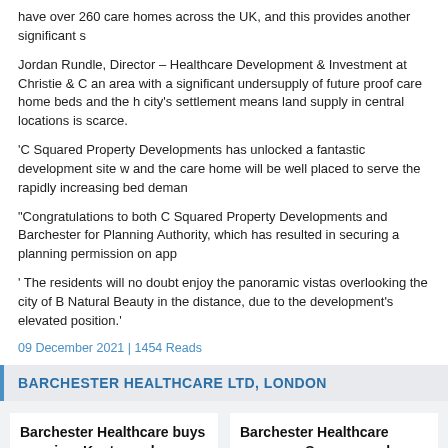have over 260 care homes across the UK, and this provides another significant s
Jordan Rundle, Director – Healthcare Development & Investment at Christie & C an area with a significant undersupply of future proof care home beds and the h city's settlement means land supply in central locations is scarce.
'C Squared Property Developments has unlocked a fantastic development site w and the care home will be well placed to serve the rapidly increasing bed deman
"Congratulations to both C Squared Property Developments and Barchester for Planning Authority, which has resulted in securing a planning permission on app
' The residents will no doubt enjoy the panoramic vistas overlooking the city of B Natural Beauty in the distance, due to the development's elevated position.'
09 December 2021 | 1454 Reads
BARCHESTER HEALTHCARE LTD, LONDON
Barchester Healthcare buys premium Kent care home development site
Barchester Healthcare snaps up Surrey care home development site